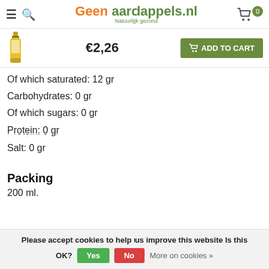Geen aardappels.nl — Natuurlijk gezond
Of which saturated: 12 gr
Carbohydrates: 0 gr
Of which sugars: 0 gr
Protein: 0 gr
Salt: 0 gr
Packing
200 ml.
Please accept cookies to help us improve this website Is this OK? Yes No More on cookies »